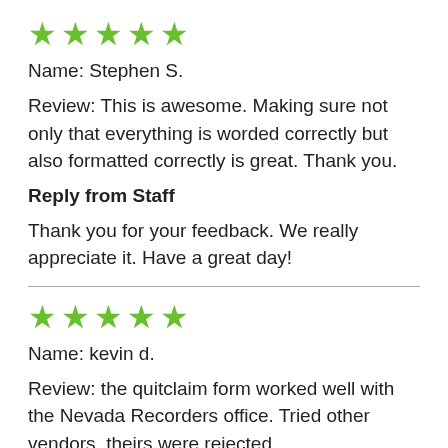[Figure (other): Five green stars rating]
Name: Stephen S.
Review: This is awesome. Making sure not only that everything is worded correctly but also formatted correctly is great. Thank you.
Reply from Staff
Thank you for your feedback. We really appreciate it. Have a great day!
[Figure (other): Five green stars rating]
Name: kevin d.
Review: the quitclaim form worked well with the Nevada Recorders office. Tried other vendors, theirs were rejected.